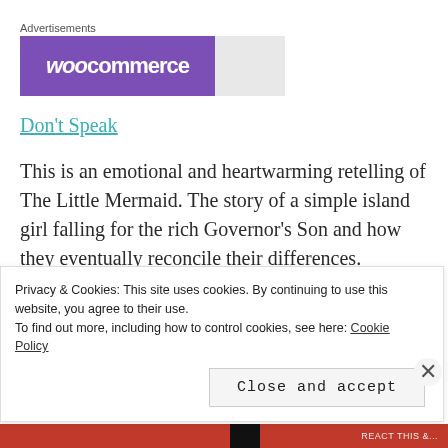Advertisements
[Figure (logo): WooCommerce advertisement banner with purple background and white logo text]
Don't Speak
This is an emotional and heartwarming retelling of The Little Mermaid. The story of a simple island girl falling for the rich Governor's Son and how they eventually reconcile their differences.
Privacy & Cookies: This site uses cookies. By continuing to use this website, you agree to their use. To find out more, including how to control cookies, see here: Cookie Policy
Close and accept